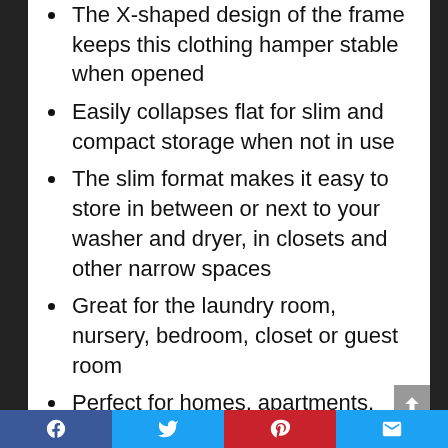The X-shaped design of the frame keeps this clothing hamper stable when opened
Easily collapses flat for slim and compact storage when not in use
The slim format makes it easy to store in between or next to your washer and dryer, in closets and other narrow spaces
Great for the laundry room, nursery, bedroom, closet or guest room
Perfect for homes, apartments, condos, college dorm rooms, RVs, campers, cabins and tiny homes